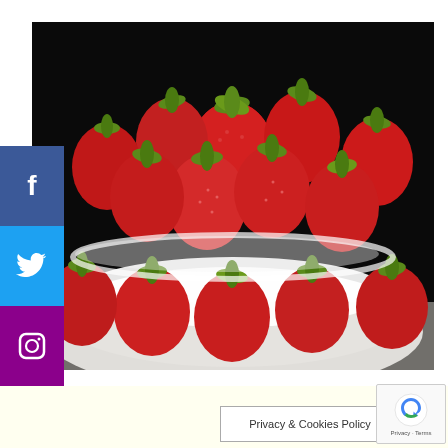[Figure (photo): A bowl of fresh red strawberries with green leaves/hulls, piled high in a white bowl, on a white cloth/napkin background, photographed against a dark/black background. Additional loose strawberries are scattered in front of the bowl.]
Juicy strawberries
Privacy & Cookies Policy